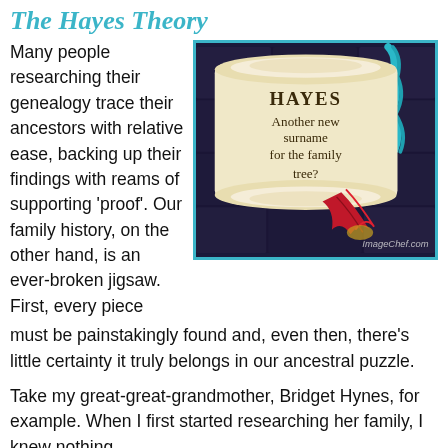The Hayes Theory
Many people researching their genealogy trace their ancestors with relative ease, backing up their findings with reams of supporting 'proof'. Our family history, on the other hand, is an ever-broken jigsaw. First, every piece must be painstakingly found and, even then, there's little certainty it truly belongs in our ancestral puzzle.
[Figure (illustration): A decorative scroll illustration showing the text 'HAYES Another new surname for the family tree?' with a red feather quill and a teal ribbon, on a dark purple stone background. Watermark: ImageChef.com]
Take my great-great-grandmother, Bridget Hynes, for example. When I first started researching her family, I knew nothing